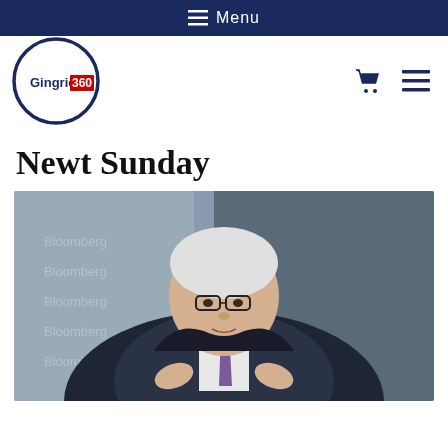≡ Menu
[Figure (logo): Gingrich 360 circular logo with navy border and red/blue text]
Newt Sunday
[Figure (photo): Man with white hair and glasses wearing a dark suit jacket, purple tie, and dark outer coat, speaking, with Bloomberg branding visible in the background]